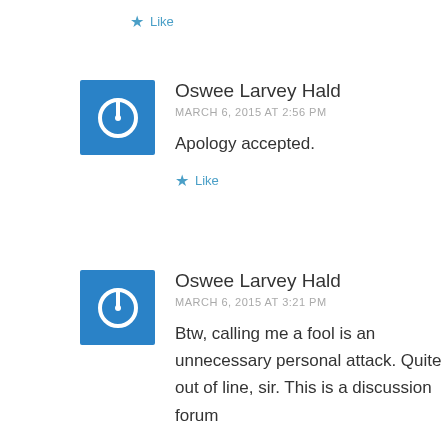★ Like
Oswee Larvey Hald
MARCH 6, 2015 AT 2:56 PM
Apology accepted.
★ Like
Oswee Larvey Hald
MARCH 6, 2015 AT 3:21 PM
Btw, calling me a fool is an unnecessary personal attack. Quite out of line, sir. This is a discussion forum